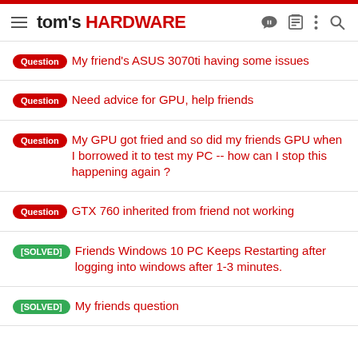tom's HARDWARE
Question  My friend's ASUS 3070ti having some issues
Question  Need advice for GPU, help friends
Question  My GPU got fried and so did my friends GPU when I borrowed it to test my PC -- how can I stop this happening again ?
Question  GTX 760 inherited from friend not working
[SOLVED]  Friends Windows 10 PC Keeps Restarting after logging into windows after 1-3 minutes.
[SOLVED]  My friends question